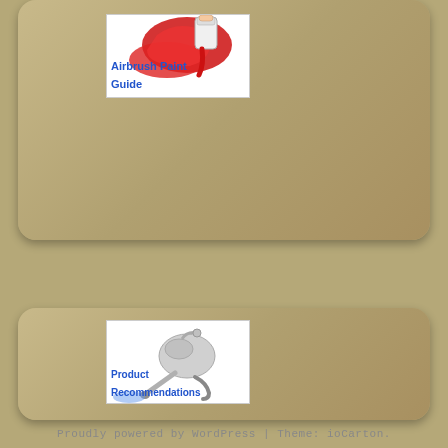[Figure (illustration): Card with airbrush paint image (red paint splashing from a can) and blue bold text reading 'Airbrush Paint Guide']
[Figure (illustration): Card with airbrush tool illustration (robotic/mechanical airbrush spraying blue mist) and blue bold text reading 'Product Recommendations']
Proudly powered by WordPress | Theme: ioCarton.